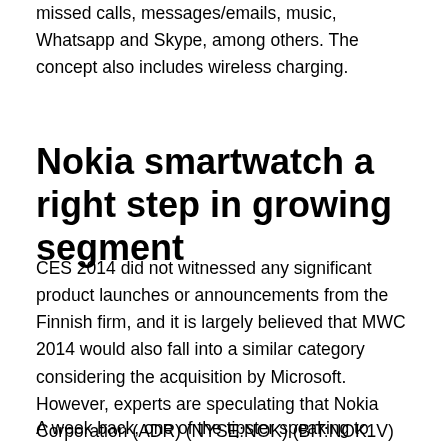missed calls, messages/emails, music, Whatsapp and Skype, among others. The concept also includes wireless charging.
Nokia smartwatch a right step in growing segment
CES 2014 did not witnessed any significant product launches or announcements from the Finnish firm, and it is largely believed that MWC 2014 would also fall into a similar category considering the acquisition by Microsoft. However, experts are speculating that Nokia Corporation (ADR) (NYSE:NOK) (BIT:NOK1V) (HEL:NOK1V) may soon come up with a smartwatch to challenge rivals like Sony, which has already launched a couple of smartwatches.
A week back, one of the tipster speaking to NokiaPowerUser, revealed that Nokia smartwatch would be launched in the thick